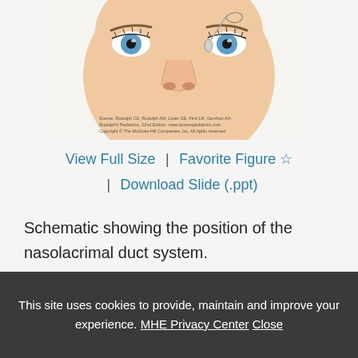[Figure (illustration): Medical illustration of a child's face showing the nasolacrimal duct system, with a probe/instrument inserted near the inner corner of the right eye. The face shows blue eyes with eyelashes, a nose, and lips. A source credit reads: Source: Rudolph CD, Rudolph AM, Lister GE, First LR, Gershon AA; Rudolph's Pediatrics, 22nd Edition. www.accesspediatrics.com Copyright © The McGraw-Hill Companies, Inc. All rights reserved.]
View Full Size | Favorite Figure ☆ | Download Slide (.ppt)
Schematic showing the position of the nasolacrimal duct system.
This site uses cookies to provide, maintain and improve your experience. MHE Privacy Center Close